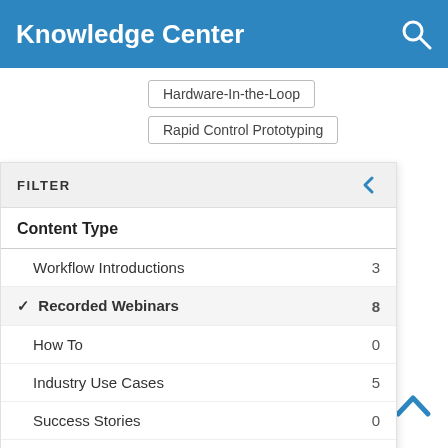Knowledge Center
Hardware-In-the-Loop
Rapid Control Prototyping
FILTER
Content Type
Workflow Introductions  3
✓ Recorded Webinars  8
How To  0
Industry Use Cases  5
Success Stories  0
Reference Applications  1
Whitepapers  1
and Real-Time
ically generate . First, you'll n on the l, the video Next, the video k® to deploy R PLC, and ntation of the ne.